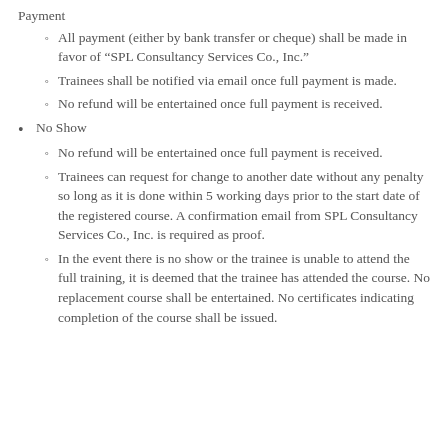Payment (partial, top of page)
All payment (either by bank transfer or cheque) shall be made in favor of “SPL Consultancy Services Co., Inc.”
Trainees shall be notified via email once full payment is made.
No refund will be entertained once full payment is received.
No Show
No refund will be entertained once full payment is received.
Trainees can request for change to another date without any penalty so long as it is done within 5 working days prior to the start date of the registered course. A confirmation email from SPL Consultancy Services Co., Inc. is required as proof.
In the event there is no show or the trainee is unable to attend the full training, it is deemed that the trainee has attended the course. No replacement course shall be entertained. No certificates indicating completion of the course shall be issued.